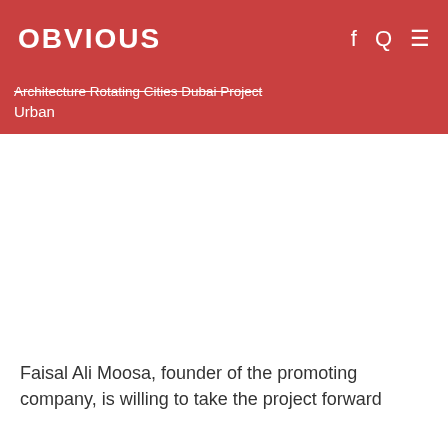OBVIOUS  f Q ≡
Architecture Rotating Cities Dubai Project Urban
Faisal Ali Moosa, founder of the promoting company, is willing to take the project forward